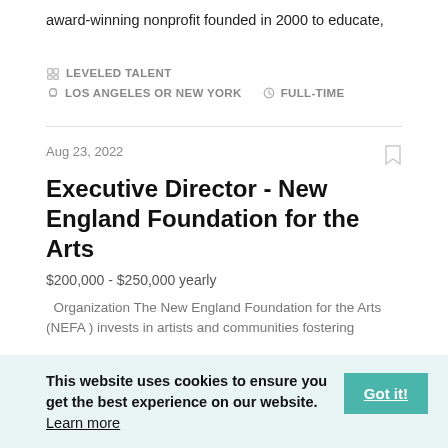award-winning nonprofit founded in 2000 to educate,
LEVELED TALENT
LOS ANGELES OR NEW YORK   FULL-TIME
Aug 23, 2022
Executive Director - New England Foundation for the Arts
$200,000 - $250,000 yearly
Organization The New England Foundation for the Arts (NEFA ) invests in artists and communities fostering
This website uses cookies to ensure you get the best experience on our website. Learn more
Got it!